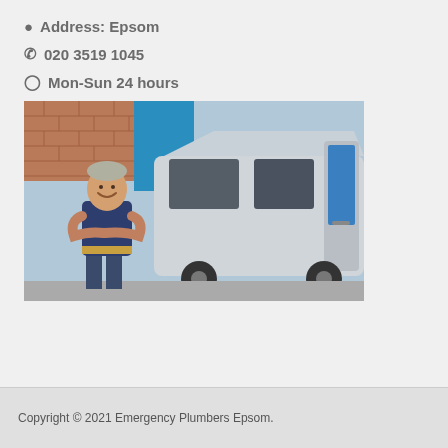📍 Address: Epsom
📞 020 3519 1045
🕐 Mon-Sun 24 hours
[Figure (photo): A smiling male plumber in navy blue work clothes with a tool belt, standing with arms crossed in front of a white van with its door open, showing equipment inside. Brick wall and blue background visible.]
Copyright © 2021 Emergency Plumbers Epsom.